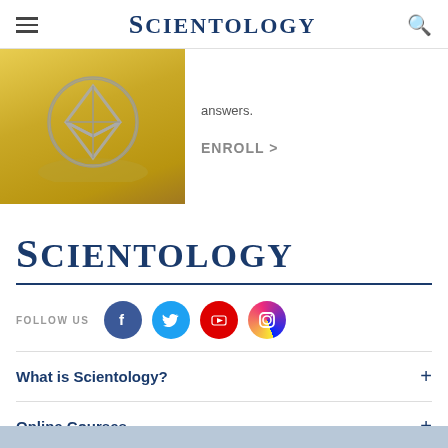SCIENTOLOGY
[Figure (illustration): Scientology cross/diamond symbol on golden desert background]
answers.
ENROLL >
SCIENTOLOGY
FOLLOW US
[Figure (logo): Social media icons: Facebook, Twitter, YouTube, Instagram]
What is Scientology? +
Online Courses +
Beginning Services +